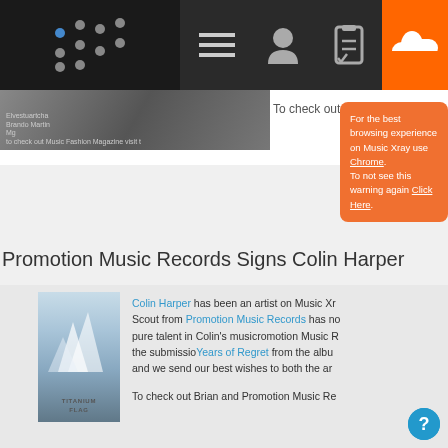[Figure (screenshot): Music Xray website navigation bar with logo dots, hamburger menu, user icon, checklist icon, and SoundCloud orange icon]
[Figure (screenshot): Orange tooltip popup reading: For the best browsing experience on Music Xray use Chrome. To not see this warning again Click Here.]
Promotion Music Records Signs Colin Harper
[Figure (photo): Album cover for Titanium Flag showing icebergs in blue tones]
Colin Harper has been an artist on Music Xr... Scout from Promotion Music Records has no... pure talent in Colin's musicromotion Music R... the submission Years of Regret from the albu... and we send our best wishes to both the ar...
To check out Brian and Promotion Music Re...